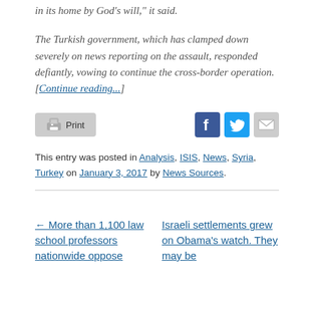in its home by God’s will,” it said.
The Turkish government, which has clamped down severely on news reporting on the assault, responded defiantly, vowing to continue the cross-border operation. [Continue reading...]
Print | Facebook | Twitter | Email
This entry was posted in Analysis, ISIS, News, Syria, Turkey on January 3, 2017 by News Sources.
← More than 1,100 law school professors nationwide oppose
Israeli settlements grew on Obama’s watch. They may be